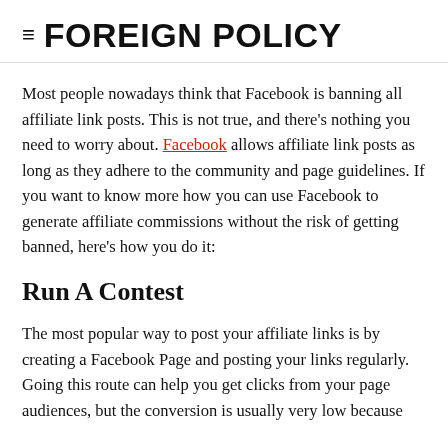≡ FOREIGN POLICY
Most people nowadays think that Facebook is banning all affiliate link posts. This is not true, and there's nothing you need to worry about. Facebook allows affiliate link posts as long as they adhere to the community and page guidelines. If you want to know more how you can use Facebook to generate affiliate commissions without the risk of getting banned, here's how you do it:
Run A Contest
The most popular way to post your affiliate links is by creating a Facebook Page and posting your links regularly. Going this route can help you get clicks from your page audiences, but the conversion is usually very low because